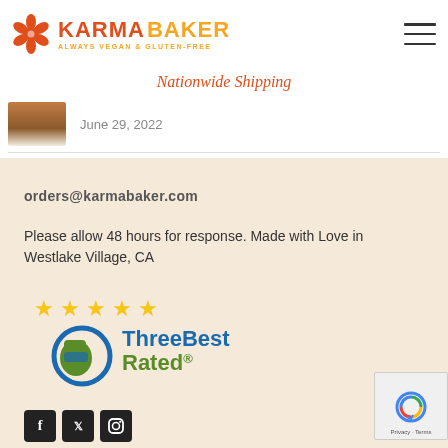[Figure (logo): Karma Baker logo with orange flower icon, KARMA in red, BAKER in orange, tagline ALWAYS VEGAN & GLUTEN-FREE]
Nationwide Shipping
June 29, 2022
orders@karmabaker.com
Please allow 48 hours for response. Made with Love in Westlake Village, CA
[Figure (logo): ThreeBest Rated logo with 5 gold stars and thumbs up icon]
[Figure (logo): reCAPTCHA badge bottom right]
Facebook social icon
Twitter social icon
Instagram social icon